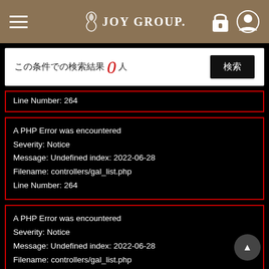JOY GROUP. [navigation header with hamburger menu, logo, lock icon, user icon]
この条件での検索結果 0 人 [検索 button]
Line Number: 264
A PHP Error was encountered
Severity: Notice
Message: Undefined index: 2022-06-28
Filename: controllers/gal_list.php
Line Number: 264
A PHP Error was encountered
Severity: Notice
Message: Undefined index: 2022-06-28
Filename: controllers/gal_list.php
Line Number: 264
A PHP Error was encountered
Severity: Notice